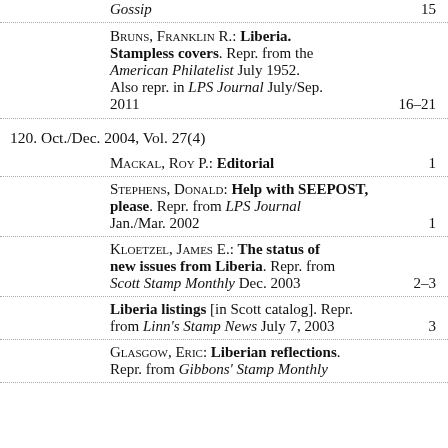Gossip  15
Bruns, Franklin R.: Liberia. Stampless covers. Repr. from the American Philatelist July 1952. Also repr. in LPS Journal July/Sep. 2011  16–21
120. Oct./Dec. 2004, Vol. 27(4)
Mackal, Roy P.: Editorial  1
Stephens, Donald: Help with SEEPOST, please. Repr. from LPS Journal Jan./Mar. 2002  1
Kloetzel, James E.: The status of new issues from Liberia. Repr. from Scott Stamp Monthly Dec. 2003  2–3
Liberia listings [in Scott catalog]. Repr. from Linn's Stamp News July 7, 2003  3
Glasgow, Eric: Liberian reflections. Repr. from Gibbons' Stamp Monthly